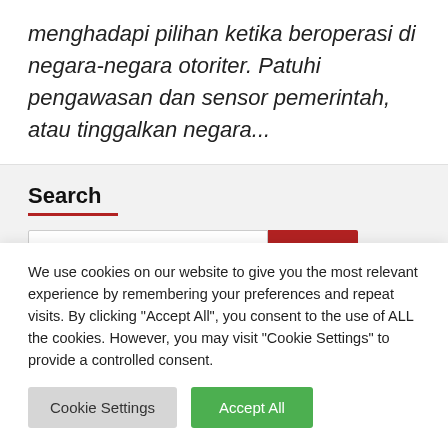menghadapi pilihan ketika beroperasi di negara-negara otoriter. Patuhi pengawasan dan sensor pemerintah, atau tinggalkan negara...
Search
We use cookies on our website to give you the most relevant experience by remembering your preferences and repeat visits. By clicking "Accept All", you consent to the use of ALL the cookies. However, you may visit "Cookie Settings" to provide a controlled consent.